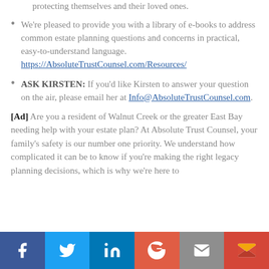protecting themselves and their loved ones.
We're pleased to provide you with a library of e-books to address common estate planning questions and concerns in practical, easy-to-understand language. https://AbsoluteTrustCounsel.com/Resources/
ASK KIRSTEN: If you'd like Kirsten to answer your question on the air, please email her at Info@AbsoluteTrustCounsel.com.
[Ad] Are you a resident of Walnut Creek or the greater East Bay needing help with your estate plan? At Absolute Trust Counsel, your family's safety is our number one priority. We understand how complicated it can be to know if you're making the right legacy planning decisions, which is why we're here to
Social share bar: Facebook, Twitter, LinkedIn, Google+, Email, Gmail